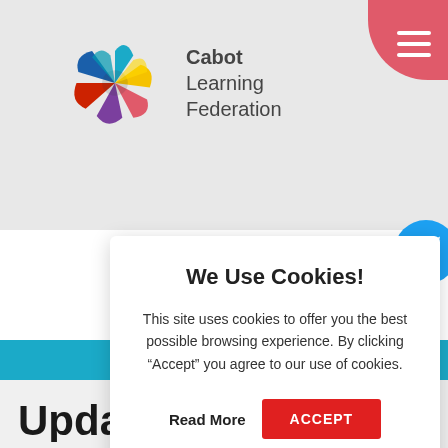[Figure (logo): Cabot Learning Federation logo with colorful pinwheel/swirl graphic and text 'Cabot Learning Federation']
We Use Cookies!
This site uses cookies to offer you the best possible browsing experience. By clicking “Accept” you agree to our use of cookies.
Read More   ACCEPT
Update on Increased